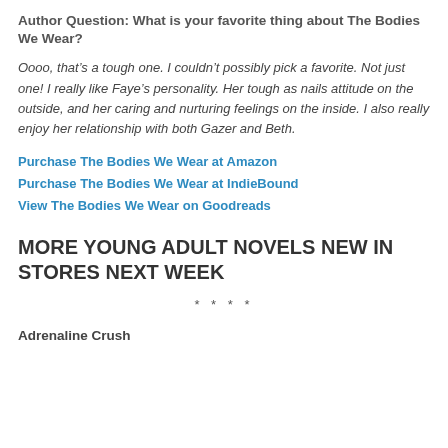Author Question: What is your favorite thing about The Bodies We Wear?
Oooo, that’s a tough one. I couldn’t possibly pick a favorite. Not just one! I really like Faye’s personality. Her tough as nails attitude on the outside, and her caring and nurturing feelings on the inside. I also really enjoy her relationship with both Gazer and Beth.
Purchase The Bodies We Wear at Amazon
Purchase The Bodies We Wear at IndieBound
View The Bodies We Wear on Goodreads
MORE YOUNG ADULT NOVELS NEW IN STORES NEXT WEEK
* * * *
Adrenaline Crush